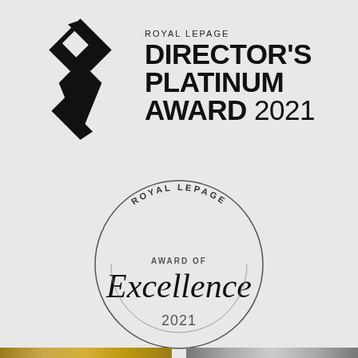[Figure (logo): Royal LePage Director's Platinum Award 2021 logo with diamond-shaped arrow mark]
[Figure (logo): Royal LePage Award of Excellence 2021 circular badge with cursive Excellence text]
[Figure (other): Gold and silver horizontal bars at bottom of page]